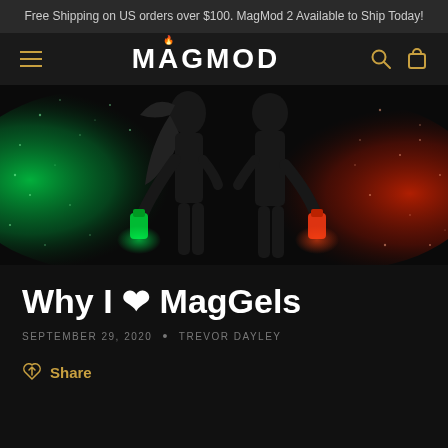Free Shipping on US orders over $100. MagMod 2 Available to Ship Today!
[Figure (logo): MagMod logo with hamburger menu, search icon, and cart icon on dark navigation bar]
[Figure (photo): Two silhouetted figures facing each other against a dark background with green powder/smoke on the left and red powder/smoke on the right, each holding colored smoke canisters]
Why I ❤ MagGels
SEPTEMBER 29, 2020 • TREVOR DAYLEY
Share